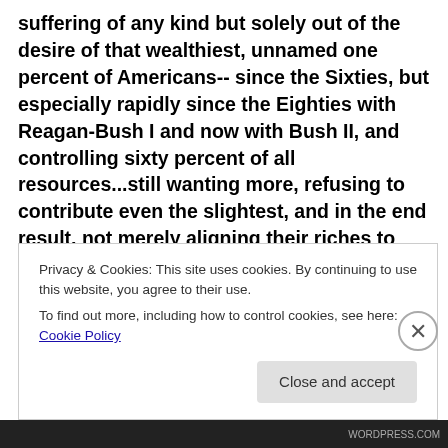suffering of any kind but solely out of the desire of that wealthiest, unnamed one percent of Americans-- since the Sixties, but especially rapidly since the Eighties with Reagan-Bush I and now with Bush II, and controlling sixty percent of all resources...still wanting more, refusing to contribute even the slightest, and in the end result, not merely aligning their riches to bring illegally into power another Bush to redistribute upward the wealth alongside the stomping ever increasingly into the dirt of the poor and working classes?
Privacy & Cookies: This site uses cookies. By continuing to use this website, you agree to their use.
To find out more, including how to control cookies, see here: Cookie Policy